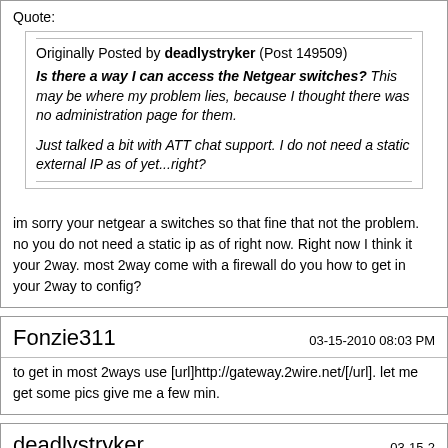Quote:
Originally Posted by deadlystryker (Post 149509)
Is there a way I can access the Netgear switches? This may be where my problem lies, because I thought there was no administration page for them.

Just talked a bit with ATT chat support. I do not need a static external IP as of yet...right?
im sorry your netgear a switches so that fine that not the problem. no you do not need a static ip as of right now. Right now I think it your 2way. most 2way come with a firewall do you how to get in your 2way to config?
Fonzie311
03-15-2010 08:03 PM
to get in most 2ways use [url]http://gateway.2wire.net/[/url]. let me get some pics give me a few min.
deadlystryker
03-15-2
Quote: